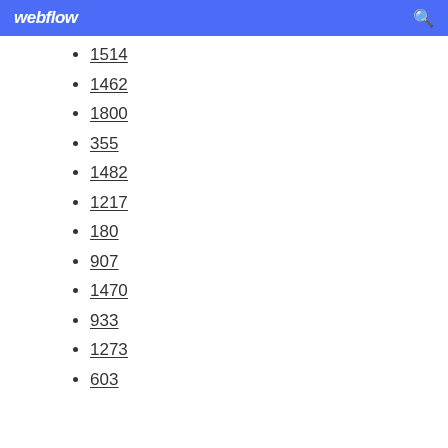webflow
1514
1462
1800
355
1482
1217
180
907
1470
933
1273
603